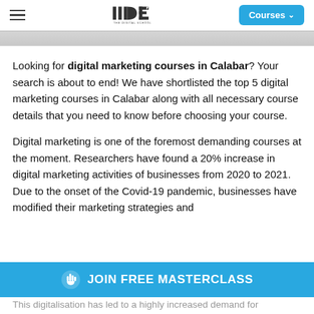IIDE – The Digital School | Courses
[Figure (screenshot): Partial hero image strip at top of page]
Looking for digital marketing courses in Calabar? Your search is about to end! We have shortlisted the top 5 digital marketing courses in Calabar along with all necessary course details that you need to know before choosing your course.
Digital marketing is one of the foremost demanding courses at the moment. Researchers have found a 20% increase in digital marketing activities of businesses from 2020 to 2021. Due to the onset of the Covid-19 pandemic, businesses have modified their marketing strategies and
This digitalisation has led to a highly increased demand for